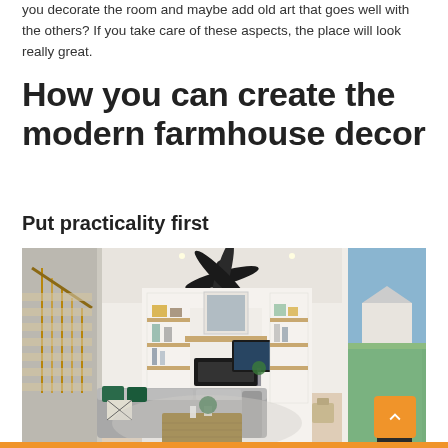you decorate the room and maybe add old art that goes well with the others? If you take care of these aspects, the place will look really great.
How you can create the modern farmhouse decor
Put practicality first
[Figure (photo): Modern farmhouse living room interior with white walls, built-in shelves around a fireplace, wall-mounted TV, gray sectional sofa with green and patterned pillows, a wooden herringbone coffee table, ceiling fan, and large windows on the right showing a suburban neighborhood.]